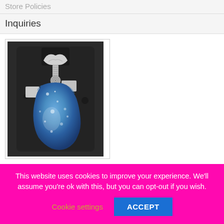Store Policies
Inquiries
[Figure (photo): A blue glittery irregular-shaped resin pendant with silver wire wrapping and a bail/clasp at the top, displayed against a dark charcoal grey display card background.]
This website uses cookies to improve your experience. We'll assume you're ok with this, but you can opt-out if you wish.